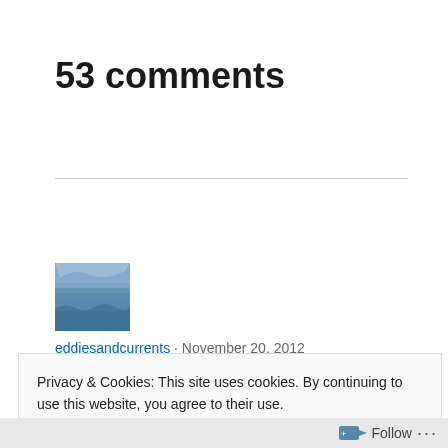53 comments
[Figure (photo): User avatar/thumbnail image showing a river or water scene with blue tones]
eddiesandcurrents · November 20, 2012
Privacy & Cookies: This site uses cookies. By continuing to use this website, you agree to their use.
To find out more, including how to control cookies, see here: Cookie Policy.
Close and accept
Follow